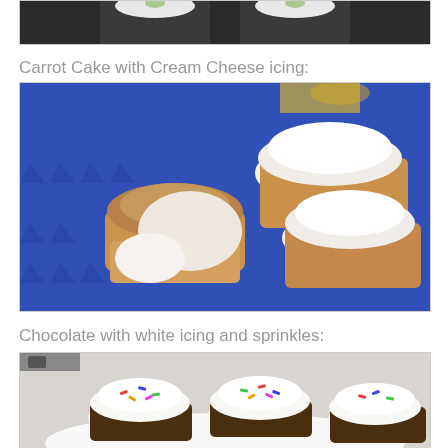[Figure (photo): Partial view of cupcakes with white icing on dark wrappers, cropped at top of page]
Carrot Cake with Cream Cheese icing:
[Figure (photo): Carrot cake cupcakes with cream cheese icing on a blue tray; one cupcake is broken open showing the interior]
Chocolate with white icing and sprinkles:
[Figure (photo): Chocolate cupcakes with white icing and colorful sprinkles on a white plate, partially visible at bottom of page]